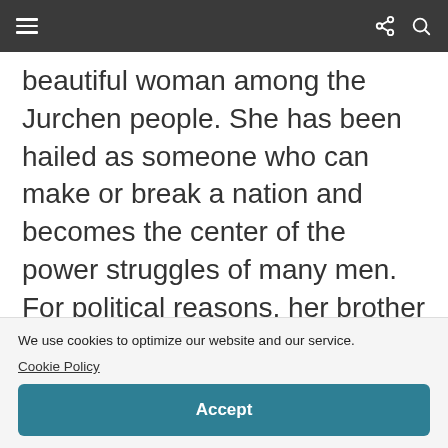≡  (share icon) (search icon)
beautiful woman among the Jurchen people. She has been hailed as someone who can make or break a nation and becomes the center of the power struggles of many men. For political reasons, her brother presents her to Nurhaci (Jing Gang Shan) as a gift. Can a woman from modern times learn to adapt to a new life and a new romance? Can she escape what's been written in history?
We use cookies to optimize our website and our service. Cookie Policy
Accept